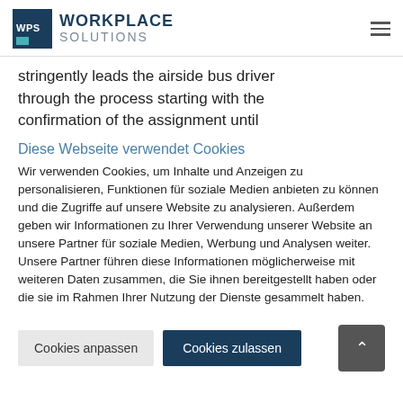[Figure (logo): WPS Workplace Solutions logo with dark blue box containing 'WPS' text and teal rectangle, beside 'WORKPLACE SOLUTIONS' text]
stringently leads the airside bus driver through the process starting with the confirmation of the assignment until
Diese Webseite verwendet Cookies
Wir verwenden Cookies, um Inhalte und Anzeigen zu personalisieren, Funktionen für soziale Medien anbieten zu können und die Zugriffe auf unsere Website zu analysieren. Außerdem geben wir Informationen zu Ihrer Verwendung unserer Website an unsere Partner für soziale Medien, Werbung und Analysen weiter. Unsere Partner führen diese Informationen möglicherweise mit weiteren Daten zusammen, die Sie ihnen bereitgestellt haben oder die sie im Rahmen Ihrer Nutzung der Dienste gesammelt haben.
Cookies anpassen  Cookies zulassen